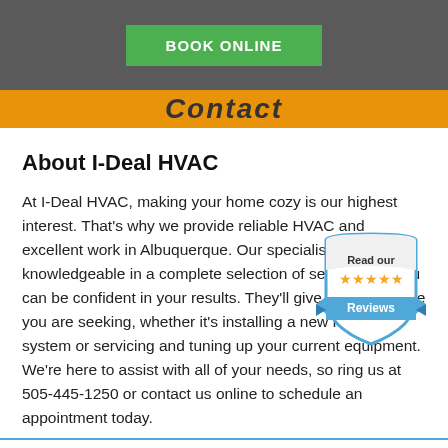BOOK ONLINE
Contact
About I-Deal HVAC
[Figure (illustration): Shield-shaped badge with 'Read our' text, five gold stars, and 'Reviews' text on a blue ribbon banner]
At I-Deal HVAC, making your home cozy is our highest interest. That's why we provide reliable HVAC and excellent work in Albuquerque. Our specialists are knowledgeable in a complete selection of services, so you can be confident in your results. They'll give the assistance you are seeking, whether it's installing a new HVAC system or servicing and tuning up your current equipment. We're here to assist with all of your needs, so ring us at 505-445-1250 or contact us online to schedule an appointment today.